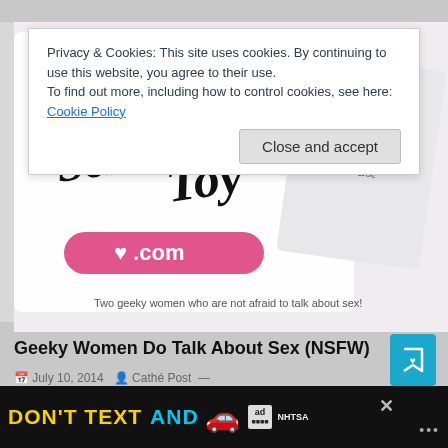[Figure (screenshot): Blog page screenshot showing cookie banner overlay, blog post image of 'Oh Joy Sex Toy .com' and 'Sexplanations with Dr. Doe' logos with text 'Two geeky women who are not afraid to talk about sex!', post title, meta, affiliate links label, and bottom advertisement bar 'DON'T TEXT AND' with car icon and NHTSA logo.]
Privacy & Cookies: This site uses cookies. By continuing to use this website, you agree to their use.
To find out more, including how to control cookies, see here: Cookie Policy
Close and accept
Geeky Women Do Talk About Sex (NSFW)
July 10, 2014   Cathé Post —
AFFILIATE LINKS
[Figure (illustration): Advertisement banner: DON'T TEXT AND with car emoji, ad logo, NHTSA logo, close button]